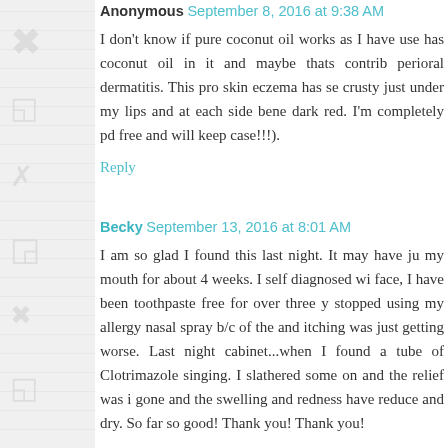Anonymous September 8, 2016 at 9:38 AM
I don't know if pure coconut oil works as I have use has coconut oil in it and maybe thats contributing to perioral dermatitis. This pro skin eczema has see crusty just under my lips and at each side bene dark red. I'm completely pd free and will keep case!!!).
Reply
Becky September 13, 2016 at 8:01 AM
I am so glad I found this last night. It may have ju my mouth for about 4 weeks. I self diagnosed wi face, I have been toothpaste free for over three y stopped using my allergy nasal spray b/c of the and itching was just getting worse. Last night cabinet...when I found a tube of Clotrimazole singing. I slathered some on and the relief was i gone and the swelling and redness have reduce and dry. So far so good! Thank you! Thank you!